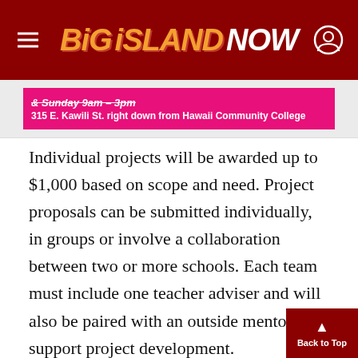BIG ISLAND NOW
[Figure (infographic): Pink advertisement banner showing 'Sunday 9am-3pm' and '315 E. Kawili St. right down from Hawaii Community College']
Individual projects will be awarded up to $1,000 based on scope and need. Project proposals can be submitted individually, in groups or involve a collaboration between two or more schools. Each team must include one teacher adviser and will also be paired with an outside mentor to support project development.
Also, for the first time, additional opportunities will be provided to help students develop projects and receive additional training as they work to implement their ideas. Grant recipients will be selected in